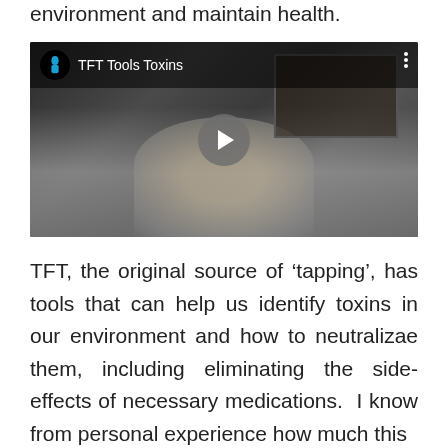environment and maintain health.
[Figure (screenshot): Video thumbnail showing a woman with gray hair and a hat, with a painting in the background. Video title reads 'TFT Tools Toxins' with a channel icon and play button.]
TFT, the original source of ‘tapping’, has tools that can help us identify toxins in our environment and how to neutralizae them, including eliminating the side-effects of necessary medications. I know from personal experience how much this